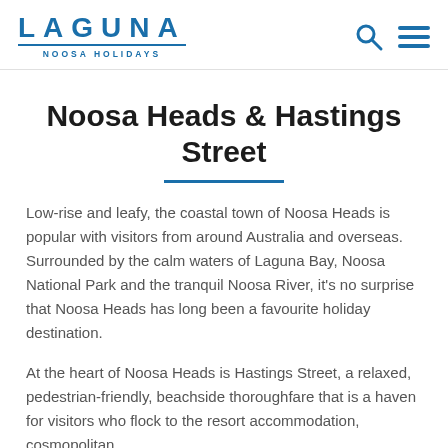LAGUNA NOOSA HOLIDAYS
Noosa Heads & Hastings Street
Low-rise and leafy, the coastal town of Noosa Heads is popular with visitors from around Australia and overseas. Surrounded by the calm waters of Laguna Bay, Noosa National Park and the tranquil Noosa River, it's no surprise that Noosa Heads has long been a favourite holiday destination.
At the heart of Noosa Heads is Hastings Street, a relaxed, pedestrian-friendly, beachside thoroughfare that is a haven for visitors who flock to the resort accommodation, cosmopolitan